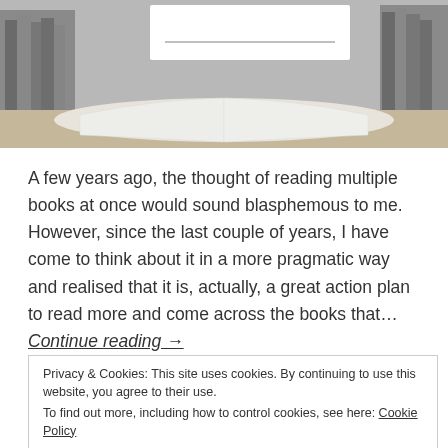[Figure (photo): Photo of stacked books and an open book on a table, with a blurred white overlay card in the center top area]
A few years ago, the thought of reading multiple books at once would sound blasphemous to me. However, since the last couple of years, I have come to think about it in a more pragmatic way and realised that it is, actually, a great action plan to read more and come across the books that… Continue reading →
Posted in Mental Clarity
Privacy & Cookies: This site uses cookies. By continuing to use this website, you agree to their use.
To find out more, including how to control cookies, see here: Cookie Policy
Close and accept